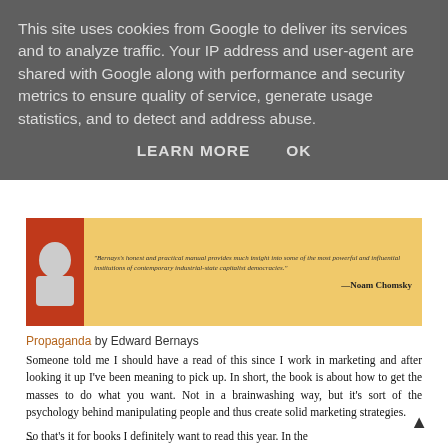This site uses cookies from Google to deliver its services and to analyze traffic. Your IP address and user-agent are shared with Google along with performance and security metrics to ensure quality of service, generate usage statistics, and to detect and address abuse.
LEARN MORE    OK
[Figure (illustration): Book cover of Propaganda with orange/red spine and a person silhouette, cream background with italic quote by Noam Chomsky]
Propaganda by Edward Bernays
Someone told me I should have a read of this since I work in marketing and after looking it up I've been meaning to pick up. In short, the book is about how to get the masses to do what you want. Not in a brainwashing way, but it's sort of the psychology behind manipulating people and thus create solid marketing strategies.
--
So that's it for books I definitely want to read this year. In the